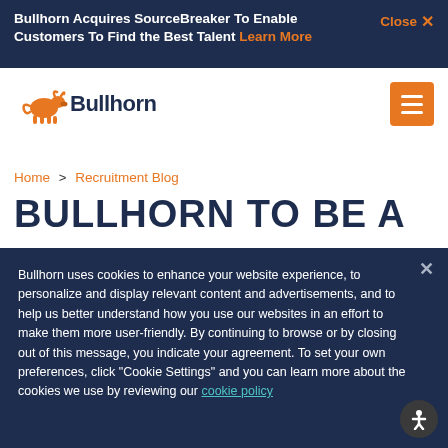Bullhorn Acquires SourceBreaker To Enable Customers To Find the Best Talent Learn More   Close ×
[Figure (logo): Bullhorn logo with orange bull icon and dark blue 'Bullhorn' text, plus orange hamburger menu button]
Home > Recruitment Blog
BULLHORN TO BE A
Bullhorn uses cookies to enhance your website experience, to personalize and display relevant content and advertisements, and to help us better understand how you use our websites in an effort to make them more user-friendly. By continuing to browse or by closing out of this message, you indicate your agreement. To set your own preferences, click "Cookie Settings" and you can learn more about the cookies we use by reviewing our cookie policy